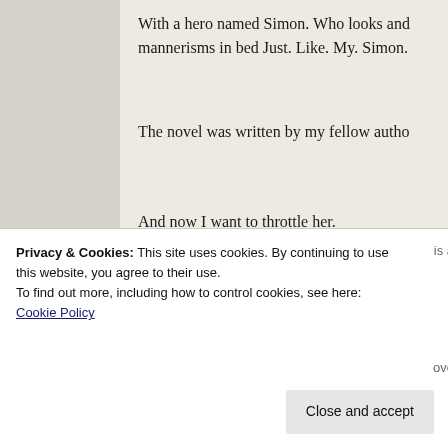With a hero named Simon. Who looks and mannerisms in bed Just. Like. My. Simon.
The novel was written by my fellow autho
And now I want to throttle her.
After I maim him first.
[Figure (logo): WordPress VIP logo and orange advertisement banner]
Privacy & Cookies: This site uses cookies. By continuing to use this website, you agree to their use.
To find out more, including how to control cookies, see here:
Cookie Policy
Close and accept